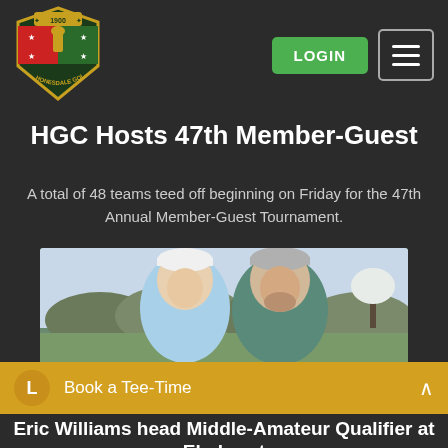[Figure (logo): Honesdale Golf Club crest logo, established 1900, shield shape with gold border and menu elements]
HGC Hosts 47th Member-Guest
A total of 48 teams teed off beginning on Friday for the 47th Annual Member-Guest Tournament.
[Figure (photo): Two men in golf attire posing outdoors on a golf course. Man on left wears a white polo and white cap; man on right wears a green vest and grey cap. Spring landscape with budding trees in background.]
Book a Tee-Time
Eric Williams head Middle-Amateur Qualifier at Elmhurst